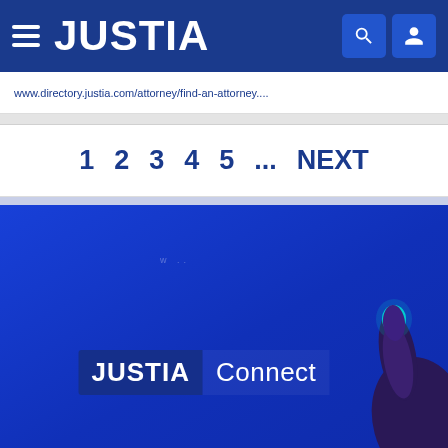JUSTIA
... directory.justia.com/attorney/...
1  2  3  4  5  ...  NEXT
[Figure (screenshot): Justia Connect promotional banner with logo, hand illustration touching glowing element, and Go Pro button on blue gradient background]